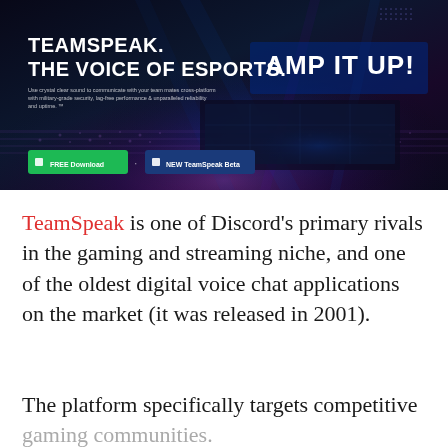[Figure (screenshot): TeamSpeak banner advertisement with dark esports arena background, text 'TEAMSPEAK. THE VOICE OF ESPORTS.' and 'AMP IT UP!' with green FREE Download and blue NEW TeamSpeak Beta buttons]
TeamSpeak is one of Discord's primary rivals in the gaming and streaming niche, and one of the oldest digital voice chat applications on the market (it was released in 2001).
The platform specifically targets competitive gaming communities.